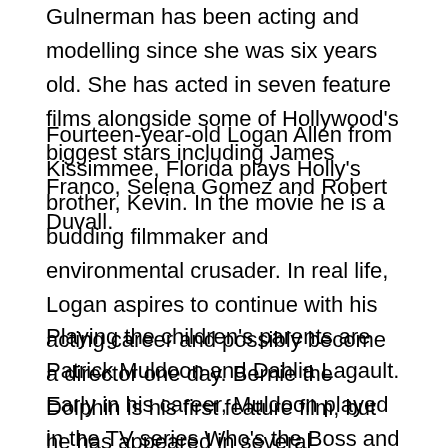Gulnerman has been acting and modelling since she was six years old. She has acted in seven feature films alongside some of Hollywood's biggest stars including James Franco, Selena Gomez and Robert Duvall.
Fourteen-year-old Logan Allen from Kissimmee, Florida plays Holly's brother, Kevin. In the movie he is a budding filmmaker and environmental crusader. In real life, Logan aspires to continue with his acting career and possibly become a director one day. Bernie the Dolphin is his first feature film, but he has appeared in several commercials, TV shows, and short films.
Playing the children's parents are Patrick Muldoon and Dahlia Lagault. Early in his career, Muldoon played in the TV series Who's the Boss and the daytime soap opera Days of Our Lives. Canadian-born Legault is best known for her work on AMC's The Walking Dead.